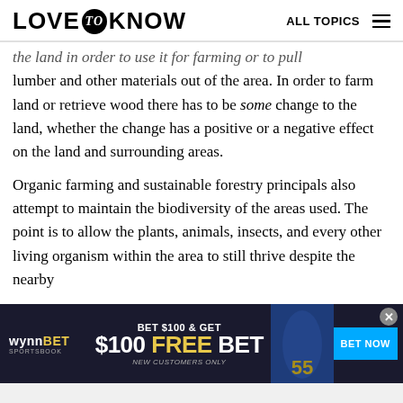LOVE to KNOW | ALL TOPICS
the land in order to use it for farming or to pull lumber and other materials out of the area. In order to farm land or retrieve wood there has to be some change to the land, whether the change has a positive or a negative effect on the land and surrounding areas.
Organic farming and sustainable forestry principals also attempt to maintain the biodiversity of the areas used. The point is to allow the plants, animals, insects, and every other living organism within the area to still thrive despite the nearby
[Figure (screenshot): WynnBET Sportsbook advertisement banner: BET $100 & GET $100 FREE BET, NEW CUSTOMERS ONLY, with BET NOW button and football player image]